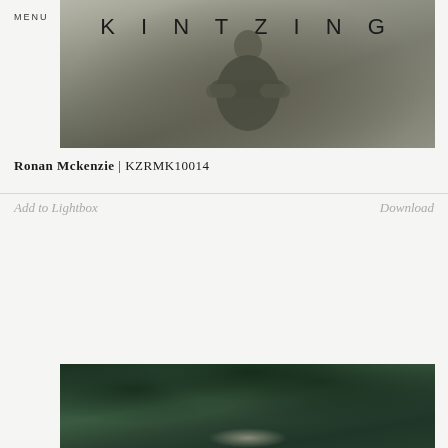MENU
[Figure (photo): A person in a dark olive/khaki jacket with arms crossed, photographed from torso up against a pale grey background. The word KINTZING is overlaid at the top of the image.]
Ronan Mckenzie | KZRMK10014
Add to Lightbox
Download
[Figure (photo): Partial view of a second photograph showing dense dark green foliage/trees, with a small bright area visible at the bottom center suggesting a figure or light source.]